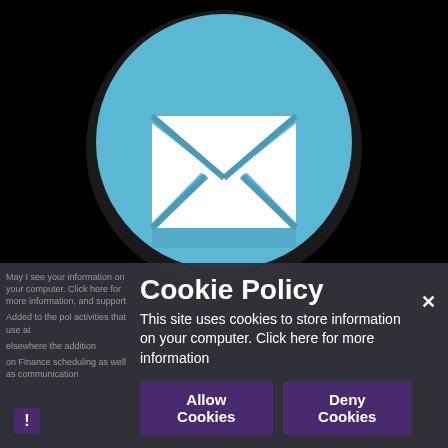[Figure (illustration): Email/mail icon: white envelope on a light blue circle, with dark blue diagonal lines forming the envelope flap. Black background surrounding the circle.]
Cookie Policy
This site uses cookies to store information on your computer. Click here for more information
Allow Cookies
Deny Cookies